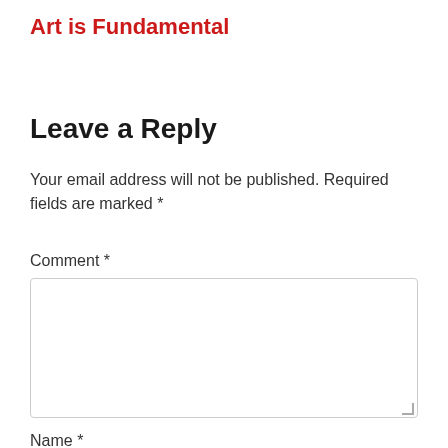Art is Fundamental
Leave a Reply
Your email address will not be published. Required fields are marked *
Comment *
Name *